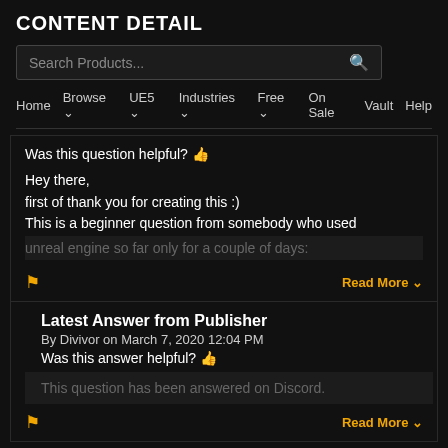CONTENT DETAIL
Search Products...
Home Browse ∨ UE5 ∨ Industries ∨ Free ∨ On Sale Vault Help
Was this question helpful? 👍
Hey there,
first of thank you for creating this :)
This is a beginner question from somebody who used unreal engine so far only for a couple of days:
Read More ∨
Latest Answer from Publisher
By Divivor on March 7, 2020 12:04 PM
Was this answer helpful? 👍
This question has been answered on Discord.
Read More ∨